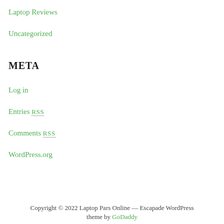Laptop Reviews
Uncategorized
META
Log in
Entries RSS
Comments RSS
WordPress.org
Copyright © 2022 Laptop Pars Online — Escapade WordPress theme by GoDaddy